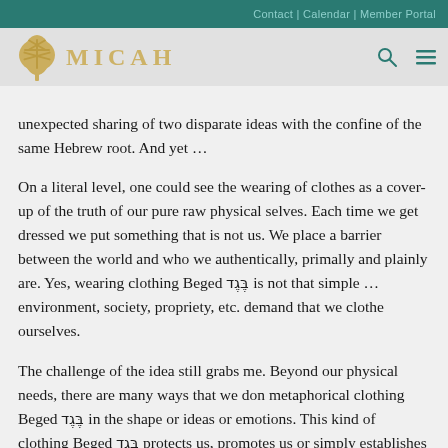Contact | Calendar | Member Portal
[Figure (logo): MICAH congregation logo with gold tree and teal text navigation bar]
unexpected sharing of two disparate ideas with the confine of the same Hebrew root. And yet …

On a literal level, one could see the wearing of clothes as a cover-up of the truth of our pure raw physical selves. Each time we get dressed we put something that is not us. We place a barrier between the world and who we authentically, primally and plainly are. Yes, wearing clothing Beged בֶּגֶד is not that simple … environment, society, propriety, etc. demand that we clothe ourselves.

The challenge of the idea still grabs me. Beyond our physical needs, there are many ways that we don metaphorical clothing Beged בֶּגֶד in the shape or ideas or emotions. This kind of clothing Beged בֶּגֶד protects us, promotes us or simply establishes ourselves in relation with others. What is the balance between putting on these metaphorical vestments